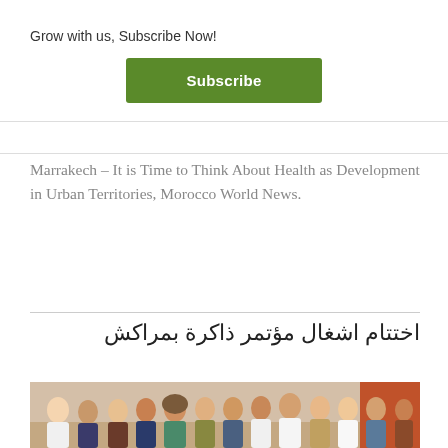×
Grow with us, Subscribe Now!
Subscribe
Marrakech – It is Time to Think About Health as Development in Urban Territories, Morocco World News.
اختتام اشغال مؤتمر ذاكرة بمراكش
[Figure (photo): Group photo of approximately 12 people posing together indoors, taken at the Marrakech memory conference.]